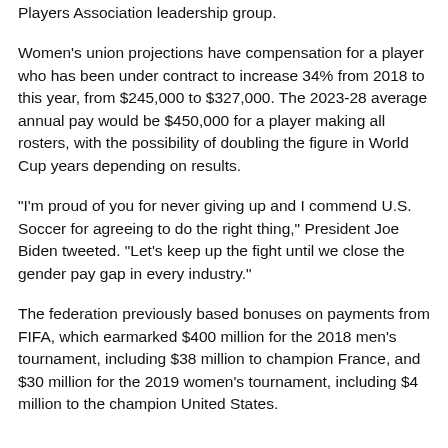Players Association leadership group.
Women's union projections have compensation for a player who has been under contract to increase 34% from 2018 to this year, from $245,000 to $327,000. The 2023-28 average annual pay would be $450,000 for a player making all rosters, with the possibility of doubling the figure in World Cup years depending on results.
“I'm proud of you for never giving up and I commend U.S. Soccer for agreeing to do the right thing,” President Joe Biden tweeted. “Let's keep up the fight until we close the gender pay gap in every industry.”
The federation previously based bonuses on payments from FIFA, which earmarked $400 million for the 2018 men’s tournament, including $38 million to champion France, and $30 million for the 2019 women’s tournament, including $4 million to the champion United States.